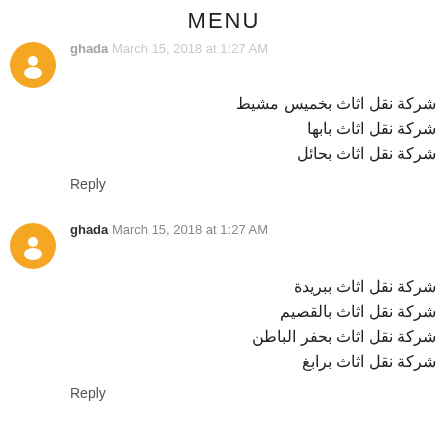MENU
ghada March 15, 2018 at 1:27 AM
شركة نقل اثاث بخميس مشيط
شركة نقل اثاث بابها
شركة نقل اثاث بحائل
Reply
ghada March 15, 2018 at 1:27 AM
شركة نقل اثاث ببريدة
شركة نقل اثاث بالقصيم
شركة نقل اثاث بحفر الباطن
شركة نقل اثاث برابغ
Reply